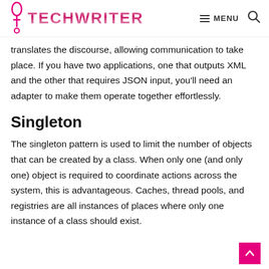TECHWRITER | MENU
translates the discourse, allowing communication to take place. If you have two applications, one that outputs XML and the other that requires JSON input, you'll need an adapter to make them operate together effortlessly.
Singleton
The singleton pattern is used to limit the number of objects that can be created by a class. When only one (and only one) object is required to coordinate actions across the system, this is advantageous. Caches, thread pools, and registries are all instances of places where only one instance of a class should exist.